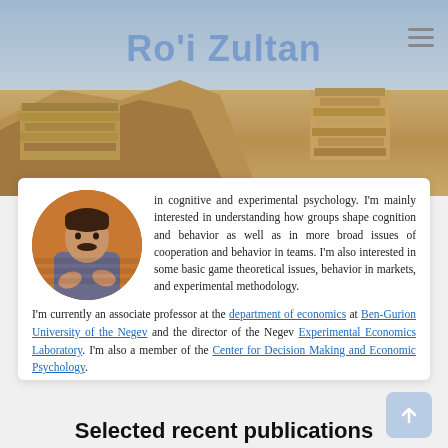[Figure (photo): Hero banner photo showing desert ruins/archaeological site with brown rocky terrain and blue sky. Name 'Ro'i Zultan' displayed in blue overlay text, hamburger menu icon top right.]
[Figure (photo): Circular portrait photo of Ro'i Zultan, a man with dark hair and mustache wearing a grey traditional top, gesturing with hands.]
in cognitive and experimental psychology. I'm mainly interested in understanding how groups shape cognition and behavior as well as in more broad issues of cooperation and behavior in teams. I'm also interested in some basic game theoretical issues, behavior in markets, and experimental methodology.
I'm currently an associate professor at the department of economics at Ben-Gurion University of the Negev and the director of the Negev Experimental Economics Laboratory. I'm also a member of the Center for Decision Making and Economic Psychology.
Selected recent publications